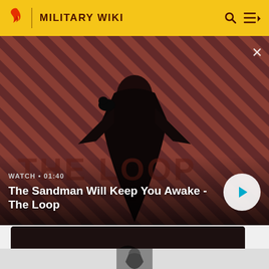MILITARY WIKI
[Figure (screenshot): Video banner showing a dark-robed figure with a crow on their shoulder against a red and black diagonal striped background. Title reads: The Sandman Will Keep You Awake - The Loop. Duration: 01:40.]
WATCH • 01:40
The Sandman Will Keep You Awake - The Loop
[Figure (photo): Dark content card showing a figure in black against a dark background. Title: Maul. Subtitle: Wookieepedia.]
Maul
Wookieepedia